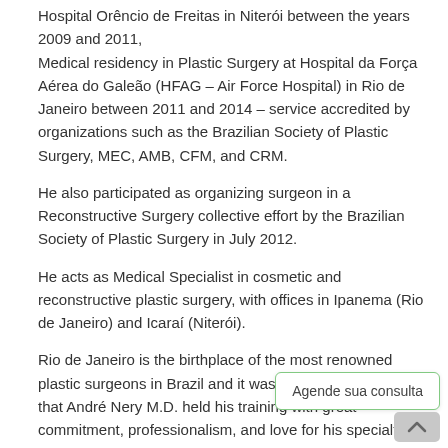Hospital Orêncio de Freitas in Niterói between the years 2009 and 2011,
Medical residency in Plastic Surgery at Hospital da Força Aérea do Galeão (HFAG – Air Force Hospital) in Rio de Janeiro between 2011 and 2014 – service accredited by organizations such as the Brazilian Society of Plastic Surgery, MEC, AMB, CFM, and CRM.
He also participated as organizing surgeon in a Reconstructive Surgery collective effort by the Brazilian Society of Plastic Surgery in July 2012.
He acts as Medical Specialist in cosmetic and reconstructive plastic surgery, with offices in Ipanema (Rio de Janeiro) and Icaraí (Niterói).
Rio de Janeiro is the birthplace of the most renowned plastic surgeons in Brazil and it was in this environment that André Nery M.D. held his training with great commitment, professionalism, and love for his specialty.
His young and ever-updating gaze upon the field of Plastic Surgery, his care and attention to patients, and pursuit of excellence make André Nery M.D. a renowned plastic surgeon ready to hear you and attend to your claims.